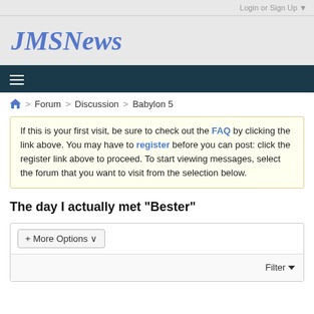Login or Sign Up ▼
JMSNews
≡
🏠 > Forum > Discussion > Babylon 5
If this is your first visit, be sure to check out the FAQ by clicking the link above. You may have to register before you can post: click the register link above to proceed. To start viewing messages, select the forum that you want to visit from the selection below.
The day I actually met "Bester"
+ More Options ▾
Filter ▼